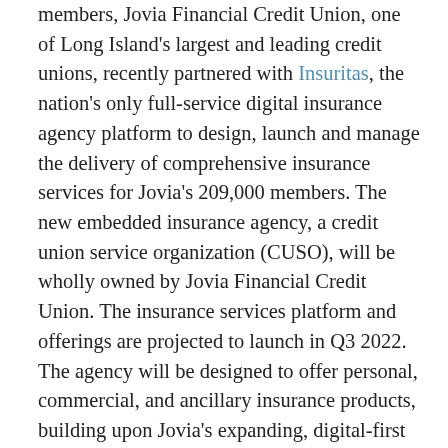members, Jovia Financial Credit Union, one of Long Island's largest and leading credit unions, recently partnered with Insuritas, the nation's only full-service digital insurance agency platform to design, launch and manage the delivery of comprehensive insurance services for Jovia's 209,000 members. The new embedded insurance agency, a credit union service organization (CUSO), will be wholly owned by Jovia Financial Credit Union. The insurance services platform and offerings are projected to launch in Q3 2022. The agency will be designed to offer personal, commercial, and ancillary insurance products, building upon Jovia's expanding, digital-first model.
“Innovation and value are two cornerstone pillars we strive to attain when developing strategic planning and new product offerings